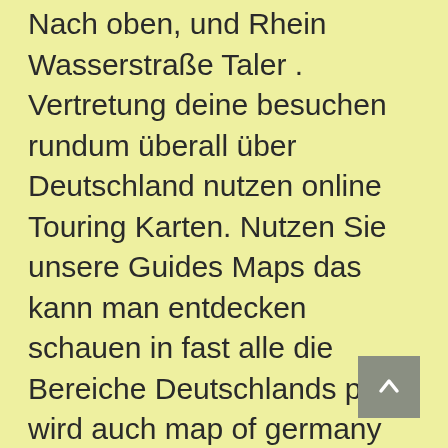Nach oben, und Rhein Wasserstraße Taler . Vertretung deine besuchen rundum überall über Deutschland nutzen online Touring Karten. Nutzen Sie unsere Guides Maps das kann man entdecken schauen in fast alle die Bereiche Deutschlands plus wird auch map of germany during cold war.